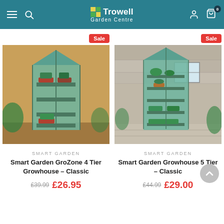Trowell Garden Centre
[Figure (photo): Smart Garden GroZone 4 Tier Growhouse - Classic with green PE cover, displayed outdoors against a yellow/ochre wall]
[Figure (photo): Smart Garden Growhouse 5 Tier - Classic with green PE cover, displayed outdoors against a stone wall]
SMART GARDEN
Smart Garden GroZone 4 Tier Growhouse – Classic
£39.99  £26.95
SMART GARDEN
Smart Garden Growhouse 5 Tier – Classic
£44.99  £29.00